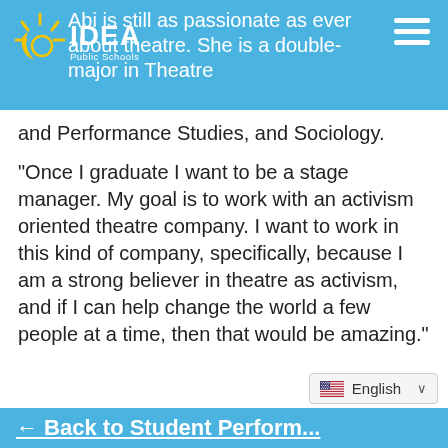Abi is still as passionate as ever about theatre. She is a double-major in Theatre and Performance Studies, and Sociology.
“Once I graduate I want to be a stage manager. My goal is to work with an activism oriented theatre company. I want to work in this kind of company, specifically, because I am a strong believer in theatre as activism, and if I can help change the world a few people at a time, then that would be amazing.”